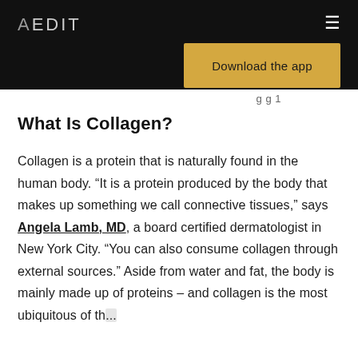AEDIT
[Figure (screenshot): Download the app button in gold/yellow color on dark header background]
g g 1
What Is Collagen?
Collagen is a protein that is naturally found in the human body. “It is a protein produced by the body that makes up something we call connective tissues,” says Angela Lamb, MD, a board certified dermatologist in New York City. “You can also consume collagen through external sources.” Aside from water and fat, the body is mainly made up of proteins – and collagen is the most ubiquitous of th...